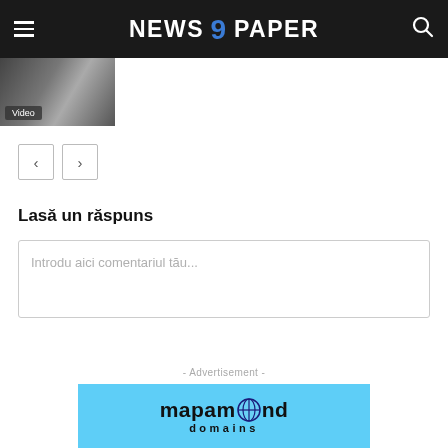NEWS 9 PAPER
[Figure (photo): Video thumbnail image with 'Video' badge label]
< >
Lasă un răspuns
Introdu aici comentariul tău...
- Advertisement -
[Figure (logo): Mapamond domains advertisement banner with globe icon on cyan/light blue background]